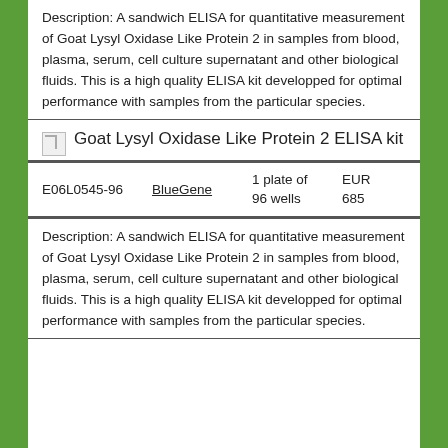Description: A sandwich ELISA for quantitative measurement of Goat Lysyl Oxidase Like Protein 2 in samples from blood, plasma, serum, cell culture supernatant and other biological fluids. This is a high quality ELISA kit developped for optimal performance with samples from the particular species.
[Figure (illustration): Small broken image icon representing product image placeholder]
Goat Lysyl Oxidase Like Protein 2 ELISA kit
| Product ID | Brand | Quantity | Price |
| --- | --- | --- | --- |
| E06L0545-96 | BlueGene | 1 plate of 96 wells | EUR 685 |
Description: A sandwich ELISA for quantitative measurement of Goat Lysyl Oxidase Like Protein 2 in samples from blood, plasma, serum, cell culture supernatant and other biological fluids. This is a high quality ELISA kit developped for optimal performance with samples from the particular species.